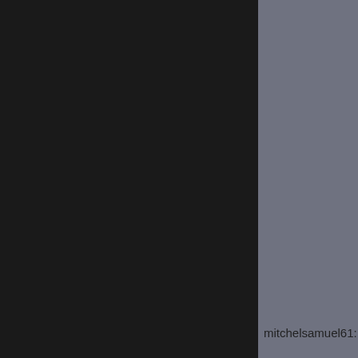[Figure (screenshot): Screenshot of a webpage with a dark left column, a gray middle column, a white right area with partially visible text content and a username label 'mitchelsamuel61:']
search engine
engine mark
companies s
specialist se
marketing s
companies s
agencies se
online mark
marketing b
online mark
online adve
display adve
marketing a
online mark
advertising n
ecommerce
ecommerce
ecommerce
ecommerce
design econ
developmen
developmen
ecommerce
developers e
design econ
ecommerce
ecommerce
on social me
advertising s
consultant e